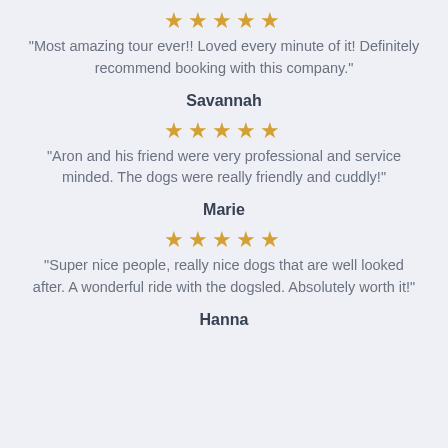★★★★★
"Most amazing tour ever!! Loved every minute of it! Definitely recommend booking with this company."
Savannah
★★★★★
"Aron and his friend were very professional and service minded. The dogs were really friendly and cuddly!"
Marie
★★★★★
"Super nice people, really nice dogs that are well looked after. A wonderful ride with the dogsled. Absolutely worth it!"
Hanna